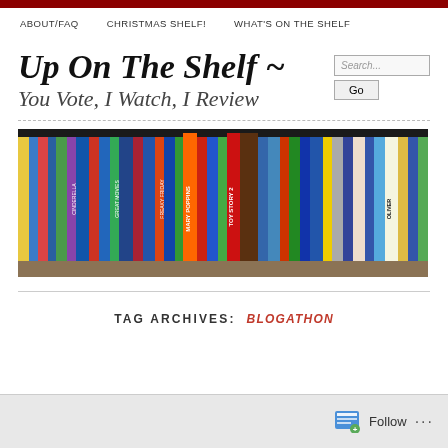ABOUT/FAQ   CHRISTMAS SHELF!   WHAT'S ON THE SHELF
Up On The Shelf ~ You Vote, I Watch, I Review
[Figure (photo): A shelf of DVD/Blu-ray cases lined up tightly, showing various animated and family movie titles including Toy Story 2, Oliver, and others.]
TAG ARCHIVES: BLOGATHON
Follow ...